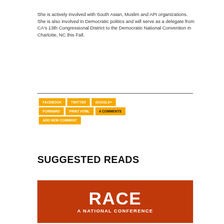She is actively involved with South Asian, Muslim and API organizations. She is also involved in Democratic politics and will serve as a delegate from CA's 13th Congressional District to the Democratic National Convention in Charlotte, NC this Fall.
[Figure (infographic): Row of social sharing and action buttons: FACEBOOK, TWITTER, GOOGLE+, FORWARD, PRINT HTML, 4 COMMENTS, ADD NEW COMMENT — all in orange/yellow background with white or dark text]
SUGGESTED READS
[Figure (photo): Book or event cover image with large text 'RACE' on an orange-red background, subtitle 'A NATIONAL CONFERENCE' below]